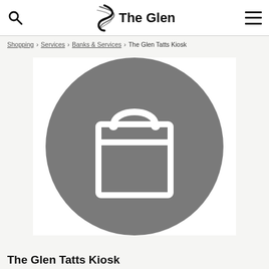The Glen
Shopping > Services > Banks & Services > The Glen Tatts Kiosk
[Figure (illustration): A grey circular icon with a white shopping bag silhouette in the center, displayed on a white rectangular background.]
The Glen Tatts Kiosk